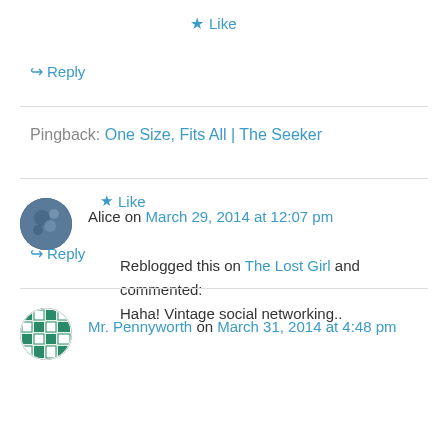★ Like
↪ Reply
Pingback: One Size, Fits All | The Seeker
Alice on March 29, 2014 at 12:07 pm
Reblogged this on The Lost Girl and commented:
Haha! Vintage social networking..
★ Like
↪ Reply
Mr. Pennyworth on March 31, 2014 at 4:48 pm